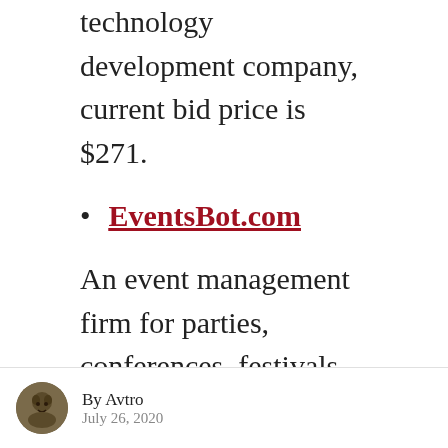technology development company, current bid price is $271.
EventsBot.com
An event management firm for parties, conferences, festivals, ceremonies, weddings and more. Current
By Avtro
July 26, 2020